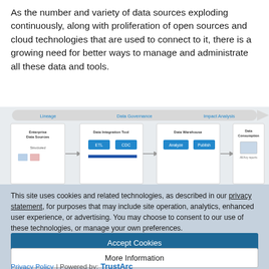As the number and variety of data sources exploding continuously, along with proliferation of open sources and cloud technologies that are used to connect to it, there is a growing need for better ways to manage and administrate all these data and tools.
[Figure (infographic): Data pipeline diagram showing: Lineage, Data Governance, Impact Analysis arrows at top; boxes for Enterprise Data Sources, Data Integration Tool (with ETL and CDC buttons), Data Warehouse (with Analyze and Publish buttons), Data Consumption]
This site uses cookies and related technologies, as described in our privacy statement, for purposes that may include site operation, analytics, enhanced user experience, or advertising. You may choose to consent to our use of these technologies, or manage your own preferences.
Accept Cookies
More Information
Privacy Policy | Powered by: TrustArc
landscape. It is designed to solve the data silo problem rooted in